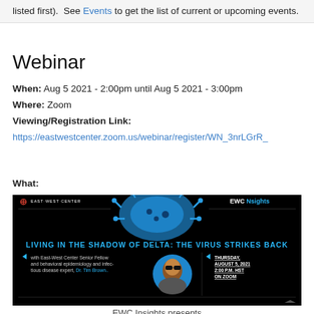listed first).  See Events to get the list of current or upcoming events.
Webinar
When: Aug 5 2021 - 2:00pm until Aug 5 2021 - 3:00pm
Where: Zoom
Viewing/Registration Link:
https://eastwestcenter.zoom.us/webinar/register/WN_3nrLGrR_
What:
[Figure (illustration): East-West Center EWC Insights event banner. Black background with blue coronavirus image at top. Title text: LIVING IN THE SHADOW OF DELTA: THE VIRUS STRIKES BACK. Left side text: with East-West Center Senior Fellow and behavioral epidemiology and infectious disease expert, Dr. Tim Brown. Center: circular photo of Dr. Tim Brown. Right side: THURSDAY, AUGUST 5, 2021, 2:00 P.M. HST, ON ZOOM.]
EWC Insights presents